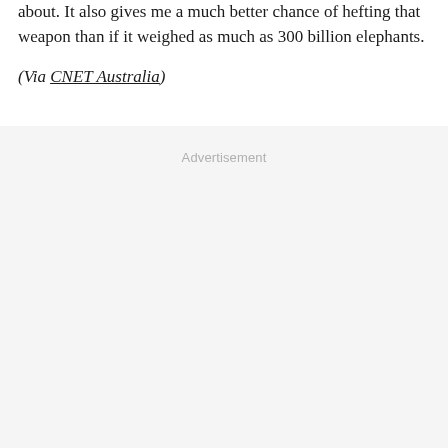about. It also gives me a much better chance of hefting that weapon than if it weighed as much as 300 billion elephants.
(Via CNET Australia)
Advertisement